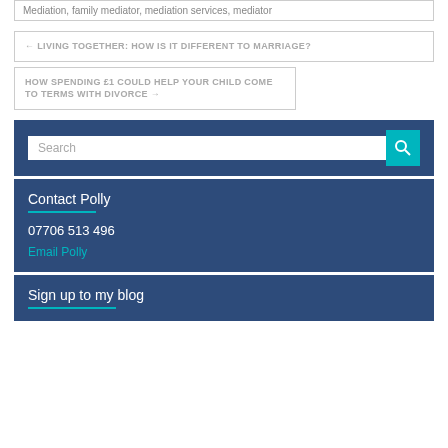Mediation, family mediator, mediation services, mediator
← LIVING TOGETHER: HOW IS IT DIFFERENT TO MARRIAGE?
HOW SPENDING £1 COULD HELP YOUR CHILD COME TO TERMS WITH DIVORCE →
Search
Contact Polly
07706 513 496
Email Polly
Sign up to my blog